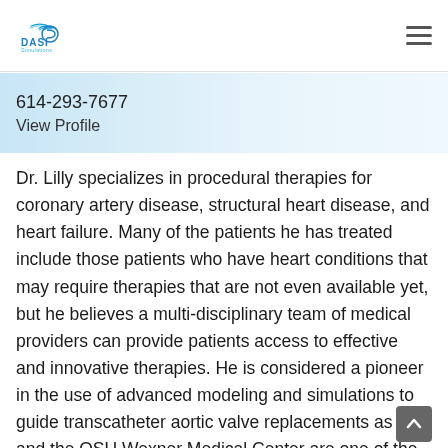DASI Simulations logo and navigation menu
614-293-7677
View Profile
Dr. Lilly specializes in procedural therapies for coronary artery disease, structural heart disease, and heart failure. Many of the patients he has treated include those patients who have heart conditions that may require therapies that are not even available yet, but he believes a multi-disciplinary team of medical providers can provide patients access to effective and innovative therapies. He is considered a pioneer in the use of advanced modeling and simulations to guide transcatheter aortic valve replacements as he and the OSU Wexner Medical Center are one of the first and remain one of the few centers to utilize this pre-procedure simulations